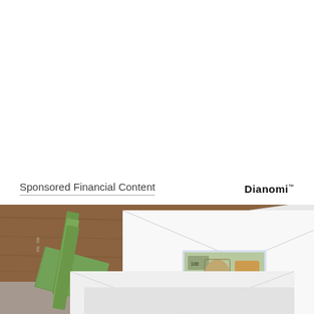Sponsored Financial Content
[Figure (photo): Photo of envelopes with $100 bills on a wooden table background, showing money in windowed envelopes]
Dianomi